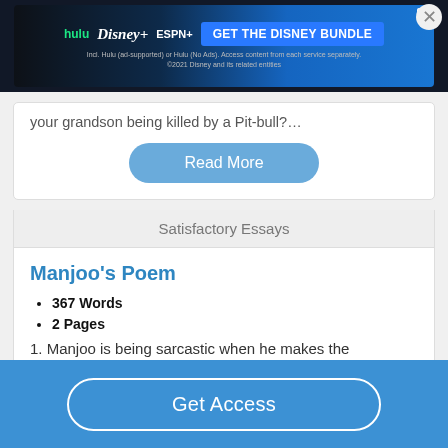[Figure (screenshot): Disney Bundle advertisement banner with Hulu, Disney+, ESPN+ logos and 'GET THE DISNEY BUNDLE' call to action]
your grandson being killed by a Pit-bull?…
Read More
Satisfactory Essays
Manjoo's Poem
367 Words
2 Pages
1. Manjoo is being sarcastic when he makes the statement,
Get Access